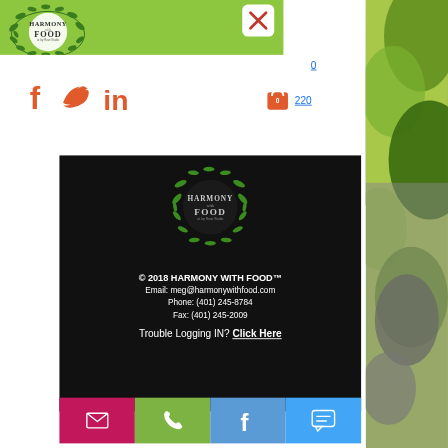[Figure (logo): Harmony with Food logo — circular wreath of green herbs with text HARMONY with FOOD in center, on green header bar]
[Figure (screenshot): Hamburger/close menu icon — white rounded square with red/orange X lines]
0
220
[Figure (logo): Social media icons: Facebook (f), Twitter bird, LinkedIn (in) in orange/coral color]
[Figure (logo): Harmony with Food footer logo — circular green herb wreath on black background]
© 2018 HARMONY WITH FOOD™
Email: meg@harmonywithfood.com
Phone: (401) 245-8784
Fax: (401) 245-2009
Trouble Logging IN? Click Here
[Figure (infographic): Bottom navigation bar with 4 colored buttons: pink (email envelope), green (phone), blue (Facebook f), light blue (chat bubble)]
[Figure (photo): Right side photo of green leaves / vegetables]